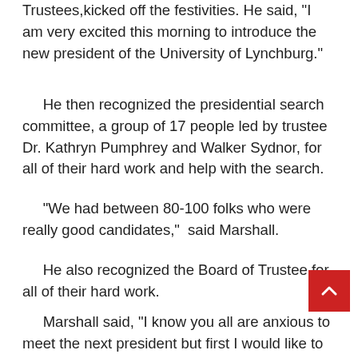Trustees,kicked off the festivities. He said, "I am very excited this morning to introduce the new president of the University of Lynchburg."
He then recognized the presidential search committee, a group of 17 people led by trustee Dr. Kathryn Pumphrey and Walker Sydnor, for all of their hard work and help with the search.
“We had between 80-100 folks who were really good candidates,”  said Marshall.
He also recognized the Board of Trustee for all of their hard work.
Marshall said, “I know you all are anxious to meet the next president but first I would like to